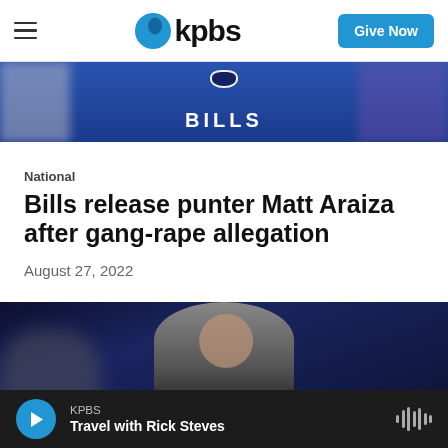KPBS — Give Now
[Figure (photo): Cropped photo of a Buffalo Bills player in blue jersey, showing 'BILLS' text on jersey, with blurred background]
National
Bills release punter Matt Araiza after gang-rape allegation
August 27, 2022
[Figure (photo): Photo of Matt Araiza, a young man in a black sleeveless shirt, looking to the side, with a dark blue blurred background]
KPBS — Travel with Rick Steves